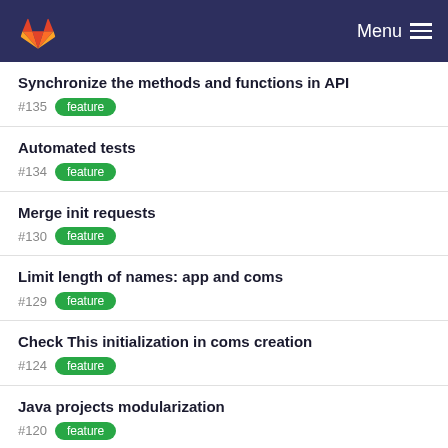GitLab Menu
Synchronize the methods and functions in API
#135 feature
Automated tests
#134 feature
Merge init requests
#130 feature
Limit length of names: app and coms
#129 feature
Check This initialization in coms creation
#124 feature
Java projects modularization
#120 feature
Launch server with a special endpoint port